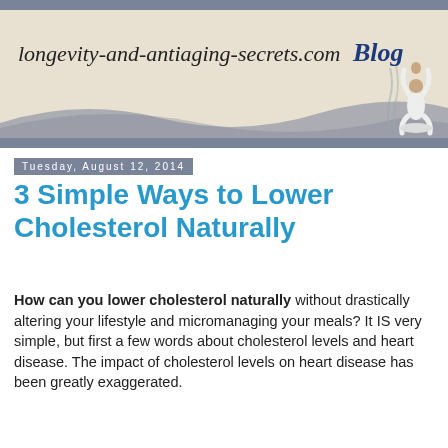[Figure (illustration): Blog header banner for longevity-and-antiaging-secrets.com Blog with decorative wave and yoga figure silhouette on beige/tan background with slate blue bars top and bottom]
Tuesday, August 12, 2014
3 Simple Ways to Lower Cholesterol Naturally
How can you lower cholesterol naturally without drastically altering your lifestyle and micromanaging your meals? It IS very simple, but first a few words about cholesterol levels and heart disease. The impact of cholesterol levels on heart disease has been greatly exaggerated.